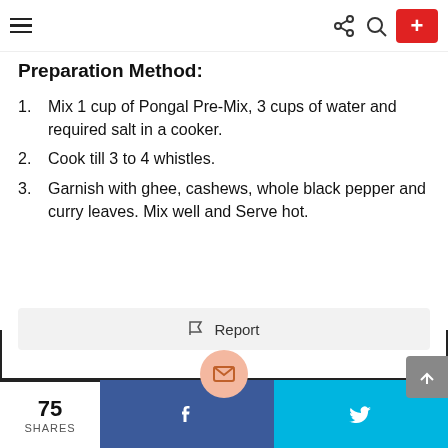Navigation bar with hamburger menu, share, search, and add buttons
Preparation Method:
Mix 1 cup of Pongal Pre-Mix, 3 cups of water and required salt in a cooker.
Cook till 3 to 4 whistles.
Garnish with ghee, cashews, whole black pepper and curry leaves. Mix well and Serve hot.
Report | 75 SHARES | Facebook | Twitter